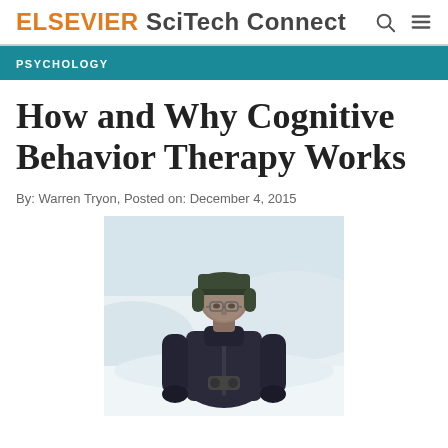ELSEVIER SciTech Connect
PSYCHOLOGY
How and Why Cognitive Behavior Therapy Works
By: Warren Tryon, Posted on: December 4, 2015
[Figure (photo): A person dressed in a dark winter jacket, hat with ear flaps, and glasses, standing outdoors in snowy conditions with snow banks visible in the background.]